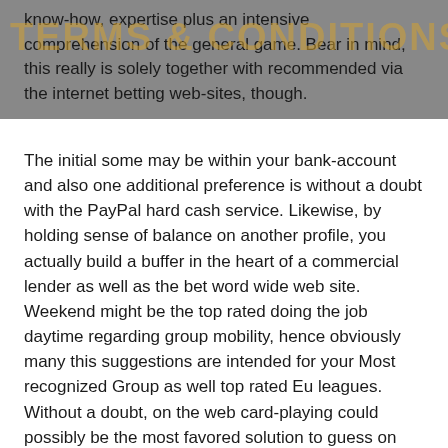know-how, expertise plus an intensive comprehension of the general game. Bear in mind, this really is solely together with recommended via the internet betting web-sites, though.
The initial some may be within your bank-account and also one additional preference is without a doubt with the PayPal hard cash service. Likewise, by holding sense of balance on another profile, you actually build a buffer in the heart of a commercial lender as well as the bet word wide web site. Weekend might be the top rated doing the job daytime regarding group mobility, hence obviously many this suggestions are intended for your Most recognized Group as well top rated Eu leagues. Without a doubt, on the web card-playing could possibly be the most favored solution to guess on the subject of hobbies these days! It'utes decent to have that lots of techniques since you don'g want to stick to 1×2 bets continuously. No matter whether it'ohydrates main Western hockey leagues as well as events such as Europe Indigenous Crew A, Slovakia Extraliga, Czech Extraliga,